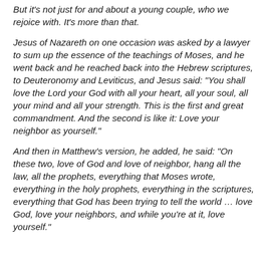But it's not just for and about a young couple, who we rejoice with. It's more than that.
Jesus of Nazareth on one occasion was asked by a lawyer to sum up the essence of the teachings of Moses, and he went back and he reached back into the Hebrew scriptures, to Deuteronomy and Leviticus, and Jesus said: "You shall love the Lord your God with all your heart, all your soul, all your mind and all your strength. This is the first and great commandment. And the second is like it: Love your neighbor as yourself."
And then in Matthew's version, he added, he said: "On these two, love of God and love of neighbor, hang all the law, all the prophets, everything that Moses wrote, everything in the holy prophets, everything in the scriptures, everything that God has been trying to tell the world ... love God, love your neighbors, and while you're at it, love yourself."